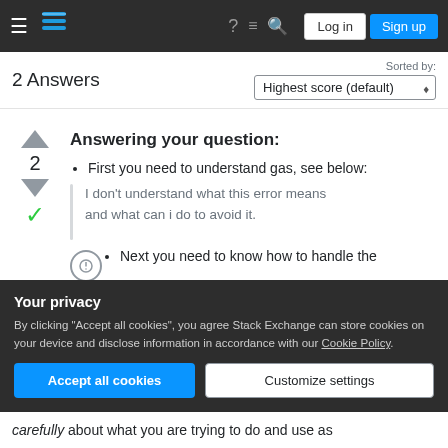Stack Exchange navigation bar with hamburger menu, logo, help, chat, search, Log in, Sign up
2 Answers — Sorted by: Highest score (default)
Answering your question:
First you need to understand gas, see below:
I don't understand what this error means and what can i do to avoid it.
Next you need to know how to handle the
Your privacy
By clicking "Accept all cookies", you agree Stack Exchange can store cookies on your device and disclose information in accordance with our Cookie Policy.
carefully about what you are trying to do and use as